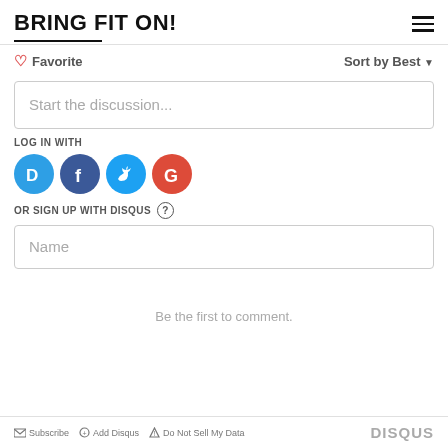BRING FIT ON!
Favorite   Sort by Best
Start the discussion...
LOG IN WITH
[Figure (illustration): Social login icons: Disqus (blue circle with D), Facebook (dark blue with f), Twitter (light blue with bird), Google (red with G)]
OR SIGN UP WITH DISQUS ?
Name
Be the first to comment.
Subscribe   Add Disqus   Do Not Sell My Data   DISQUS